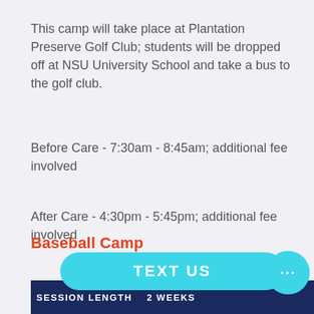This camp will take place at Plantation Preserve Golf Club; students will be dropped off at NSU University School and take a bus to the golf club.
Before Care - 7:30am - 8:45am; additional fee involved
After Care - 4:30pm - 5:45pm; additional fee involved
Baseball Camp
SESSION LENGTH    2 WEEKS